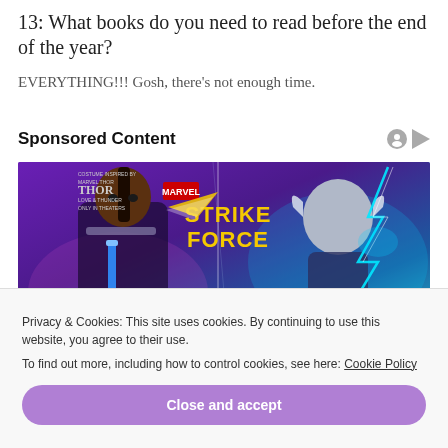13: What books do you need to read before the end of the year?
EVERYTHING!!! Gosh, there’s not enough time.
Sponsored Content
[Figure (illustration): Marvel Strike Force promotional banner featuring Thor: Love and Thunder characters — a dark-haired female hero with a glowing blue weapon on the left, and an armored female Thor with lightning on the right, on a purple-teal gradient background with Marvel Strike Force logo.]
Privacy & Cookies: This site uses cookies. By continuing to use this website, you agree to their use.
To find out more, including how to control cookies, see here: Cookie Policy
Close and accept